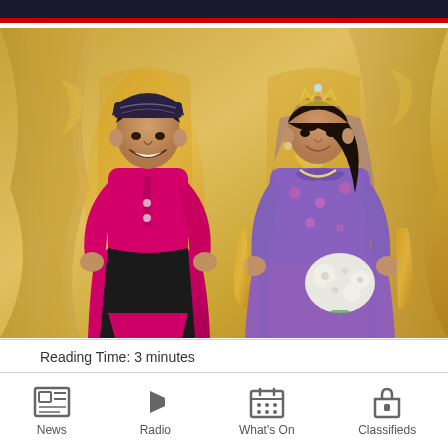[Figure (photo): A Malay couple in traditional wedding attire (baju melayu and baju kurung) seated on golden ornate chairs. The groom wears a pink/magenta satin baju melayu with a black songkok hat. The bride wears a purple and pink floral baju kurung with a tiara and holds a white bouquet. Background shows golden/cream drapes.]
Reading Time: 3 minutes
News
Radio
What's On
Classifieds